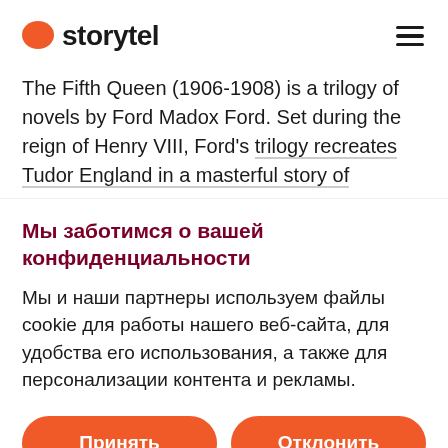[Figure (logo): Storytel logo with orange speech bubble icon and 'storytel' text in bold]
The Fifth Queen (1906-1908) is a trilogy of novels by Ford Madox Ford. Set during the reign of Henry VIII, Ford's trilogy recreates Tudor England in a masterful story of
Мы заботимся о вашей конфиденциальности
Мы и наши партнеры используем файлы cookie для работы нашего веб-сайта, для удобства его использования, а также для персонализации контента и рекламы.
Принять
Отклонить
Управлять выбором ❯